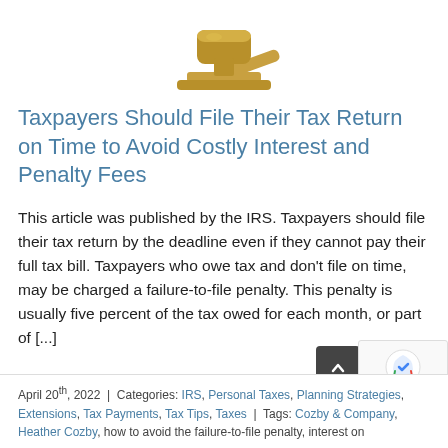[Figure (photo): A gold gavel illustration, partially cropped at the top]
Taxpayers Should File Their Tax Return on Time to Avoid Costly Interest and Penalty Fees
This article was published by the IRS. Taxpayers should file their tax return by the deadline even if they cannot pay their full tax bill. Taxpayers who owe tax and don’t file on time, may be charged a failure-to-file penalty. This penalty is usually five percent of the tax owed for each month, or part of [...]
April 20th, 2022  |  Categories: IRS, Personal Taxes, Planning Strategies, Extensions, Tax Payments, Tax Tips, Taxes  |  Tags: Cozby & Company, Heather Cozby, how to avoid the failure-to-file penalty, interest on